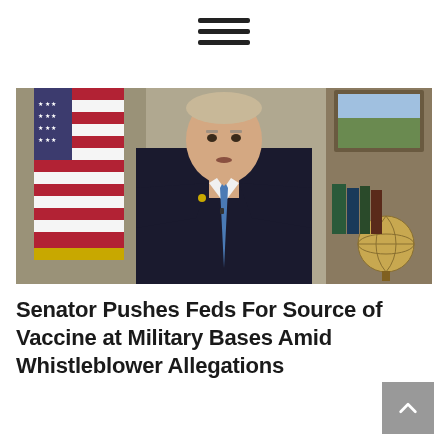[Figure (other): Hamburger menu icon — three horizontal dark bars centered at top of page]
[Figure (photo): A man in a dark suit with a blue tie speaking, with an American flag in the background and a globe and bookshelf visible to the right. Appears to be a Senator speaking from an office setting.]
Senator Pushes Feds For Source of Vaccine at Military Bases Amid Whistleblower Allegations